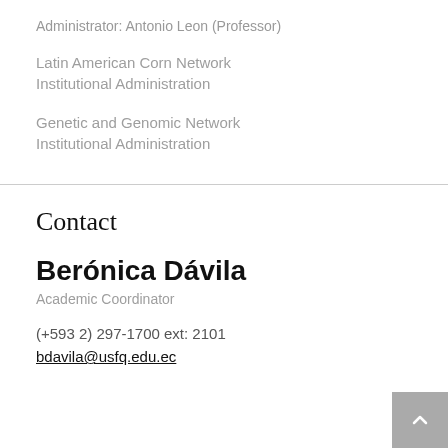Administrator: Antonio Leon (Professor)
Latin American Corn Network
Institutional Administration
Genetic and Genomic Network
Institutional Administration
Contact
Berónica Dávila
Academic Coordinator
(+593 2) 297-1700 ext: 2101
bdavila@usfq.edu.ec